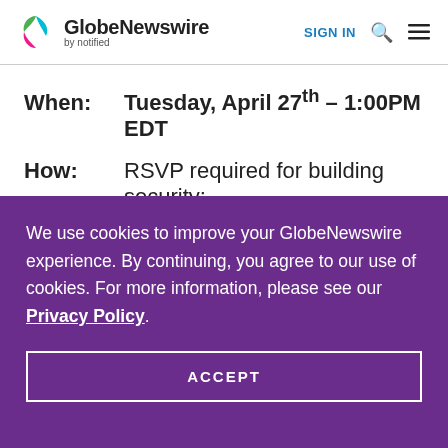[Figure (logo): GlobeNewswire by notified logo with colorful leaf/wing icon]
SIGN IN
When: Tuesday, April 27th – 1:00PM EDT
How: RSVP required for building security:
We use cookies to improve your GlobeNewswire experience. By continuing, you agree to our use of cookies. For more information, please see our Privacy Policy.
ACCEPT